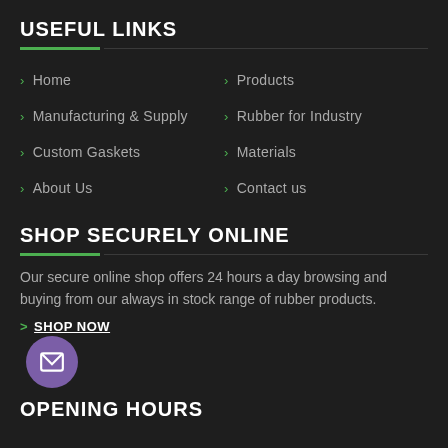USEFUL LINKS
Home
Products
Manufacturing & Supply
Rubber for Industry
Custom Gaskets
Materials
About Us
Contact us
SHOP SECURELY ONLINE
Our secure online shop offers 24 hours a day browsing and buying from our always in stock range of rubber products.
> SHOP NOW
OPENING HOURS